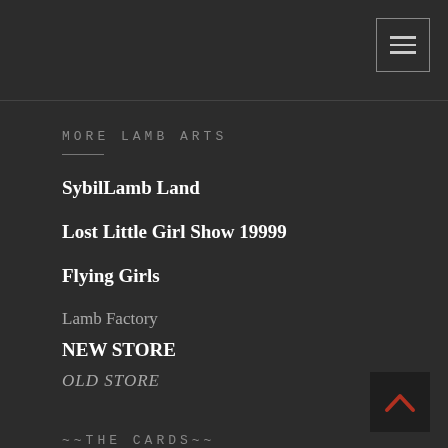[Figure (other): Hamburger menu button (three horizontal lines) in top-right corner]
MORE LAMB ARTS
SybilLamb Land
Lost Little Girl Show 19999
Flying Girls
Lamb Factory
NEW STORE
OLD STORE
~~THE CARDS~~
[Figure (other): Back-to-top button with red upward chevron/caret in bottom-right corner]